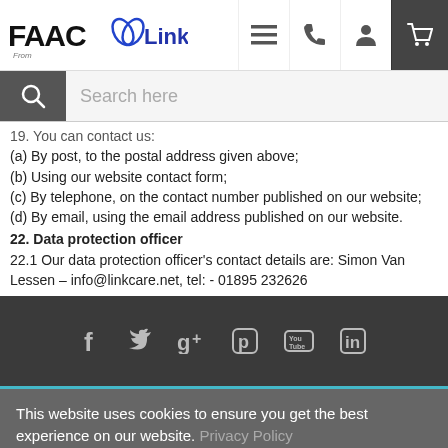FAAC from LinkCare — website header with navigation icons
Search here
19.   You can contact us:
(a)    By post, to the postal address given above;
(b)    Using our website contact form;
(c)    By telephone, on the contact number published on our website;
(d)    By email, using the email address published on our website.
22.   Data protection officer
22.1  Our data protection officer's contact details are: Simon Van Lessen – info@linkcare.net, tel: - 01895 232626
Social media icons: Facebook, Twitter, Google+, Pinterest, YouTube, LinkedIn
This website uses cookies to ensure you get the best experience on our website. Privacy Policy
Close   Accept   Settings